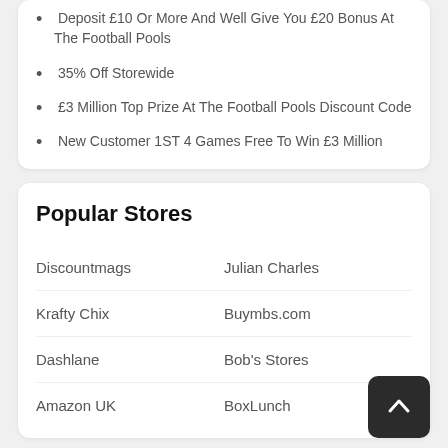Deposit £10 Or More And Well Give You £20 Bonus At The Football Pools
35% Off Storewide
£3 Million Top Prize At The Football Pools Discount Code
New Customer 1ST 4 Games Free To Win £3 Million
Popular Stores
Discountmags
Julian Charles
Krafty Chix
Buymbs.com
Dashlane
Bob's Stores
Amazon UK
BoxLunch